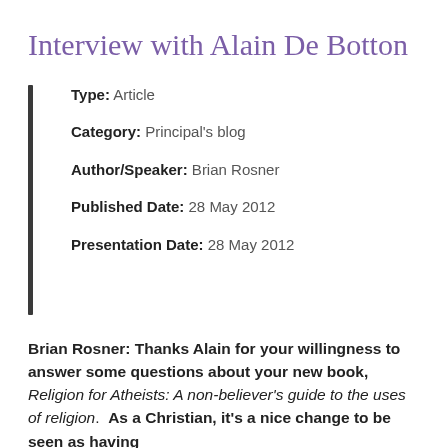Interview with Alain De Botton
Type: Article
Category: Principal's blog
Author/Speaker: Brian Rosner
Published Date: 28 May 2012
Presentation Date: 28 May 2012
Brian Rosner: Thanks Alain for your willingness to answer some questions about your new book, Religion for Atheists: A non-believer's guide to the uses of religion.  As a Christian, it's a nice change to be seen as having